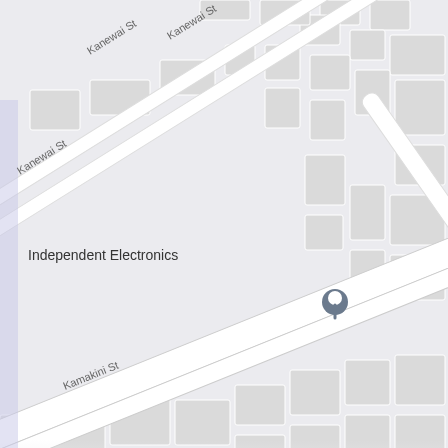[Figure (map): Google Maps street map showing a neighborhood in Hawaii. Visible streets include Kanewai St (multiple labels), Kaluawaa St, Kamakini St, and a partially visible stream label. Business labels include 'Independent Electronics' with a location pin marker and '24Hour Island Towing'. The map shows city blocks with building footprints in light gray on a slightly darker gray background. A large diagonal road/runway feature crosses the lower portion of the map. The bottom third of the image fades to a light gray/lavender color representing the app UI background below the map.]